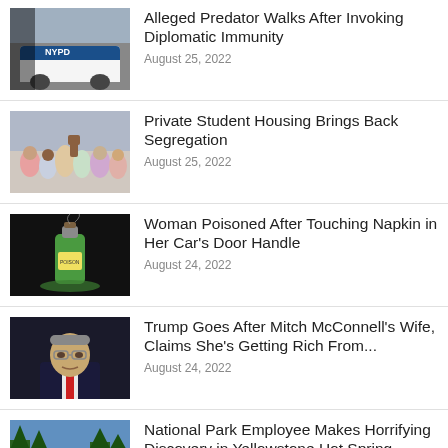Alleged Predator Walks After Invoking Diplomatic Immunity
August 25, 2022
Private Student Housing Brings Back Segregation
August 25, 2022
Woman Poisoned After Touching Napkin in Her Car's Door Handle
August 24, 2022
Trump Goes After Mitch McConnell's Wife, Claims She's Getting Rich From...
August 24, 2022
National Park Employee Makes Horrifying Discovery in Yellowstone Hot Spring...